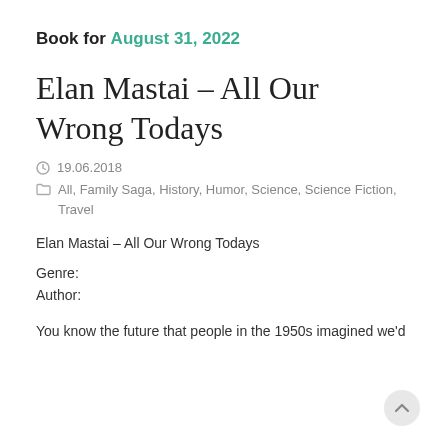Book for August 31, 2022
Elan Mastai – All Our Wrong Todays
19.06.2018
All, Family Saga, History, Humor, Science, Science Fiction, Travel
Elan Mastai – All Our Wrong Todays
Genre:
Author:
You know the future that people in the 1950s imagined we'd